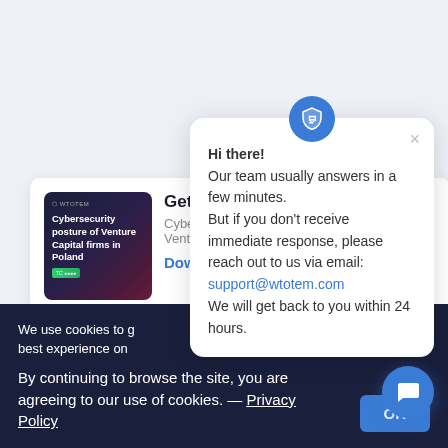[Figure (screenshot): Article card showing 'Get c...' title with Cybersecurity posture thumbnail image and 'Cyber... Ventu...' subtitle and 'Down...' download link]
[Figure (screenshot): Chat support popup widget with blue shield icon, close X button, greeting text and contact information including support@wtotem.com email]
Hi there! Our team usually answers in a few minutes. But if you don't receive immediate response, please reach out to us via email: support@wtotem.com We will get back to you within 24 hours.
We use cookies to g... best experience on ...
By continuing to browse the site, you are agreeing to our use of cookies. — Privacy Policy